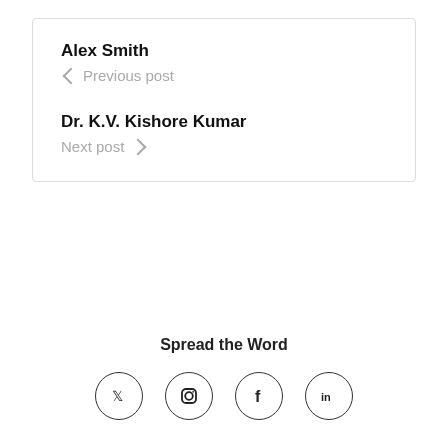Alex Smith
← Previous post
Dr. K.V. Kishore Kumar
Next post →
Spread the Word
[Figure (other): Four social media icons (Twitter/X, Instagram, Facebook, LinkedIn) in circular outlines, partially visible at the bottom of the page]